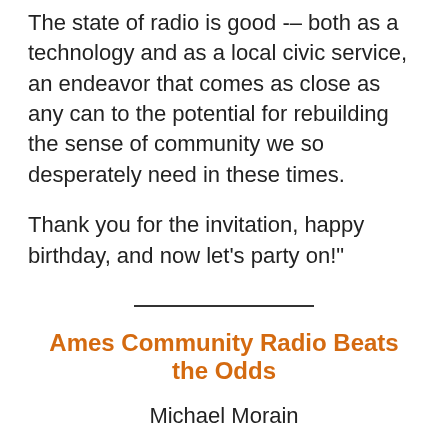The state of radio is good -– both as a technology and as a local civic service, an endeavor that comes as close as any can to the potential for rebuilding the sense of community we so desperately need in these times.
Thank you for the invitation, happy birthday, and now let's party on!"
Ames Community Radio Beats the Odds
Michael Morain
Des Moines Register, August 29, 2015
[Information regarding subscribing to the Des